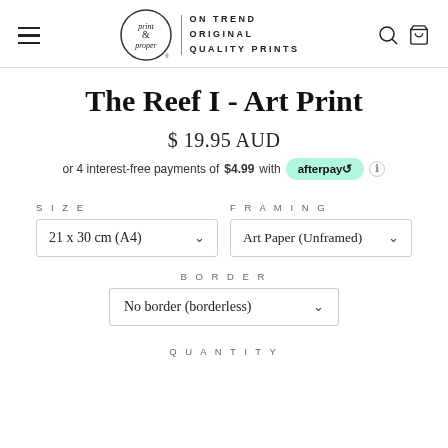[Figure (logo): Print & Proper logo with circle, ampersand, and tagline 'ON TREND ORIGINAL QUALITY PRINTS']
The Reef I - Art Print
$ 19.95 AUD
or 4 interest-free payments of $4.99 with afterpay
SIZE
21 x 30 cm (A4)
FRAMING
Art Paper (Unframed)
BORDER
No border (borderless)
QUANTITY